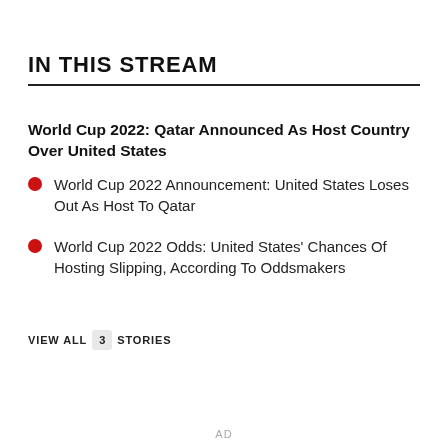IN THIS STREAM
World Cup 2022: Qatar Announced As Host Country Over United States
World Cup 2022 Announcement: United States Loses Out As Host To Qatar
World Cup 2022 Odds: United States' Chances Of Hosting Slipping, According To Oddsmakers
VIEW ALL 3 STORIES
AD